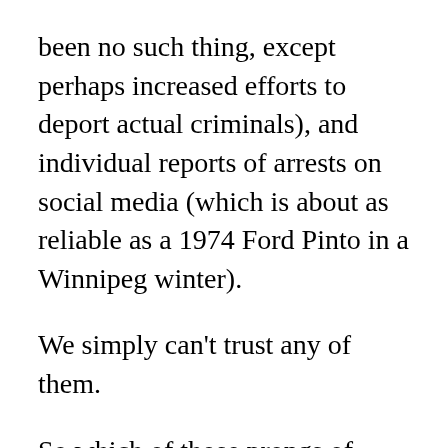been no such thing, except perhaps increased efforts to deport actual criminals), and individual reports of arrests on social media (which is about as reliable as a 1974 Ford Pinto in a Winnipeg winter).
We simply can't trust any of them.
So which of those prongs of fraud do I rely on?
I simply don't know, but in light of the mainstream media's flat-out fraud over the past decade or so, I trust nothing with a